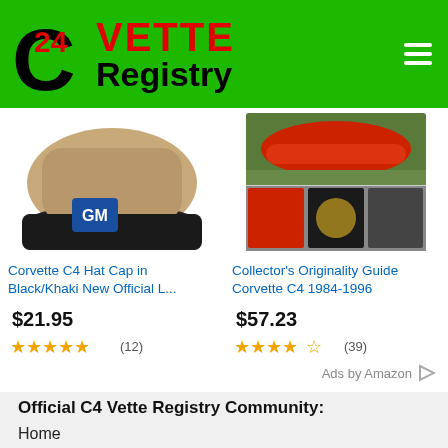[Figure (logo): C4 Vette Registry logo with green background, black C, red 24, red VETTE text and black Registry text]
[Figure (photo): Corvette C4 Hat Cap in Black/Khaki with GM logo badge visible]
Corvette C4 Hat Cap in Black/Khaki New Official L...
$21.95
★★★★★ (12)
[Figure (photo): Collector's Originality Guide Corvette C4 1984-1996 book cover showing red Corvette]
Collector's Originality Guide Corvette C4 1984-1996
$57.23
★★★★☆ (39)
Ads by Amazon
Official C4 Vette Registry Community:
Home
Forums
Email
Who's Online
Clubs